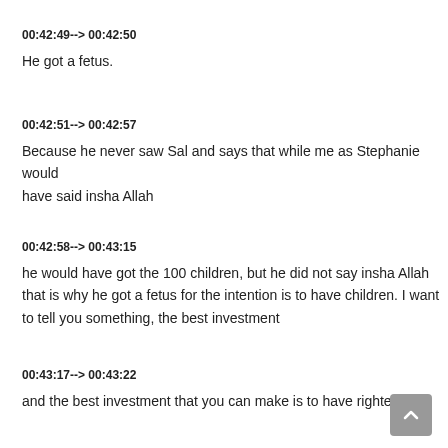00:42:49--> 00:42:50
He got a fetus.
00:42:51--> 00:42:57
Because he never saw Sal and says that while me as Stephanie would have said insha Allah
00:42:58--> 00:43:15
he would have got the 100 children, but he did not say insha Allah that is why he got a fetus for the intention is to have children. I want to tell you something, the best investment
00:43:17--> 00:43:22
and the best investment that you can make is to have righteous